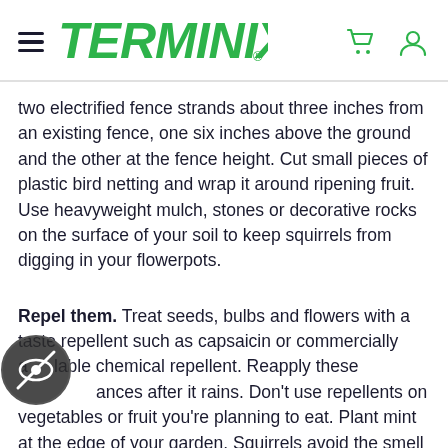TERMINIX
two electrified fence strands about three inches from an existing fence, one six inches above the ground and the other at the fence height. Cut small pieces of plastic bird netting and wrap it around ripening fruit. Use heavyweight mulch, stones or decorative rocks on the surface of your soil to keep squirrels from digging in your flowerpots.
Repel them. Treat seeds, bulbs and flowers with a taste repellent such as capsaicin or commercially available chemical repellent. Reapply these substances after it rains. Don't use repellents on vegetables or fruit you're planning to eat. Plant mint at the edge of your garden. Squirrels avoid the smell of peppermint plants.